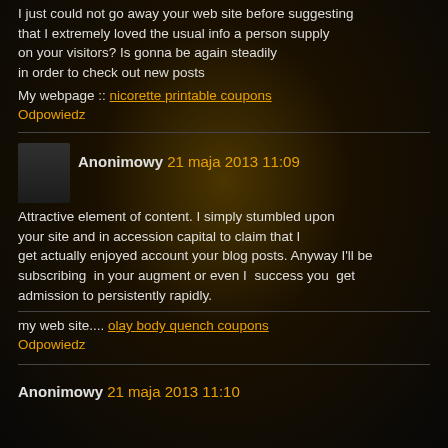I just could not go away your web site before suggesting that I extremely loved the usual info a person supply on your visitors? Is gonna be again steadily in order to check out new posts
My webpage :: nicorette printable coupons
Odpowiedz
Anonimowy 21 maja 2013 11:09
Attractive element of content. I simply stumbled upon your site and in accession capital to claim that I get actually enjoyed account your blog posts. Anyway I'll be subscribing in your augment or even I success you get admission to persistently rapidly.
my web site.... olay body quench coupons
Odpowiedz
Anonimowy 21 maja 2013 11:10